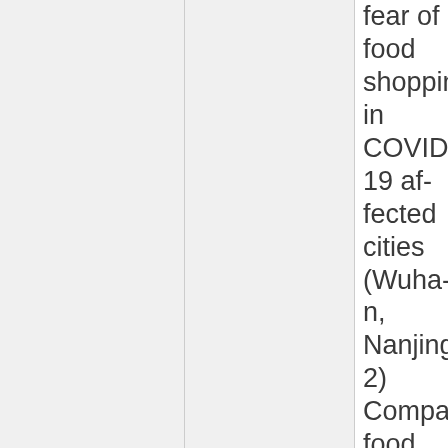fear of food shopping in COVID-19 affected cities (Wuhan, Nanjing); 2) Compare food security status in Nanjing following the COVID-19 outbreak with baseline data collected through Hungry Cities 2015; and 3) Synthesize and assess poli